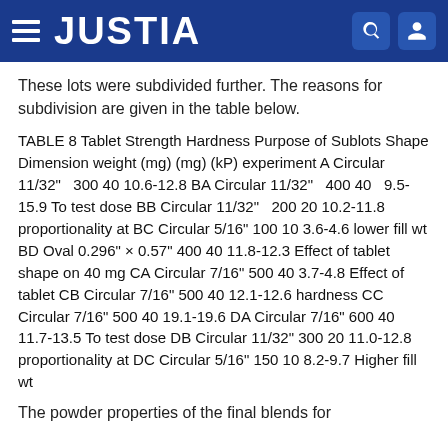JUSTIA
These lots were subdivided further. The reasons for subdivision are given in the table below.
TABLE 8 Tablet Strength Hardness Purpose of Sublots Shape Dimension weight (mg) (mg) (kP) experiment A Circular 11/32"  300 40 10.6-12.8 BA Circular 11/32"  400 40  9.5-15.9 To test dose BB Circular 11/32"  200 20 10.2-11.8 proportionality at BC Circular 5/16" 100 10 3.6-4.6 lower fill wt BD Oval 0.296" × 0.57" 400 40 11.8-12.3 Effect of tablet shape on 40 mg CA Circular 7/16" 500 40 3.7-4.8 Effect of tablet CB Circular 7/16" 500 40 12.1-12.6 hardness CC Circular 7/16" 500 40 19.1-19.6 DA Circular 7/16" 600 40 11.7-13.5 To test dose DB Circular 11/32" 300 20 11.0-12.8 proportionality at DC Circular 5/16" 150 10 8.2-9.7 Higher fill wt
The powder properties of the final blends for